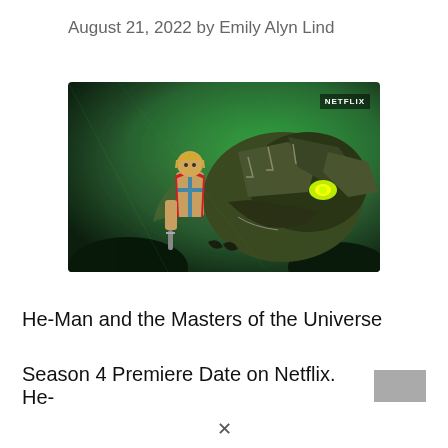August 21, 2022 by Emily Alyn Lind
[Figure (photo): Screenshot from He-Man and the Masters of the Universe animated series on Netflix, showing He-Man character with a large armored beast/villain against a green-tinted background. NETFLIX watermark in top right corner.]
He-Man and the Masters of the Universe Season 4 Premiere Date on Netflix. He-